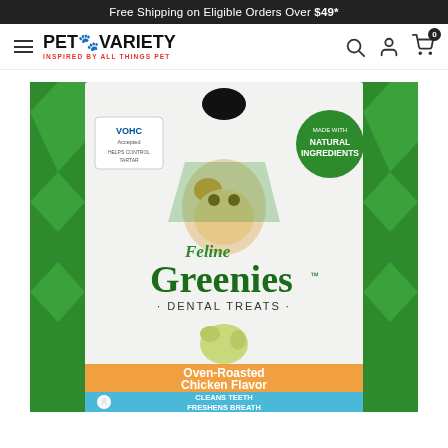Free Shipping on Eligible Orders Over $49*
[Figure (logo): Pet Variety logo with paw print icon and tagline 'Inspired By All Things Pet']
[Figure (photo): Feline Greenies Dental Treats Oven-Roasted Chicken Flavor cat treat bag with VOHC seal, natural ingredients badge, cat photo, green packaging, orange and blue bottom stripe reading 'Cleans Teeth Freshens Breath']